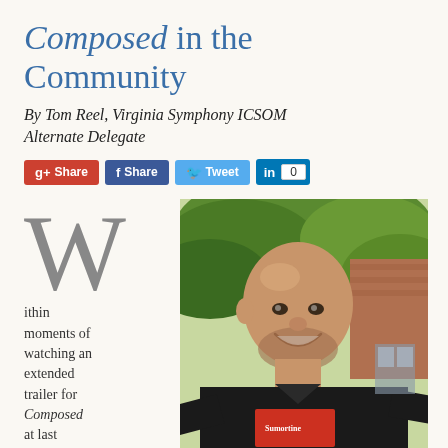Composed in the Community
By Tom Reel, Virginia Symphony ICSOM Alternate Delegate
[Figure (infographic): Social sharing buttons: Google+ Share, Facebook Share, Twitter Tweet, LinkedIn with count 0]
W ithin moments of watching an extended trailer for Composed at last summer's ICSOM Conference
[Figure (photo): A smiling bald man with a beard wearing a black t-shirt with a red graphic, outdoors with green trees in background]